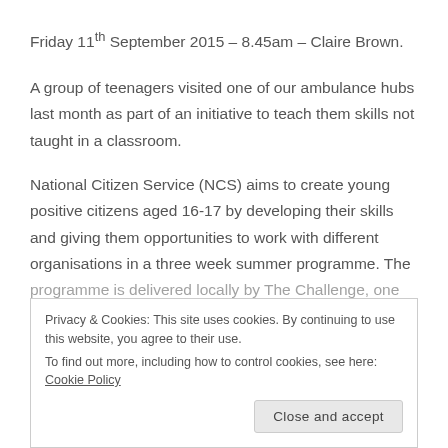Friday 11th September 2015 – 8.45am – Claire Brown.
A group of teenagers visited one of our ambulance hubs last month as part of an initiative to teach them skills not taught in a classroom.
National Citizen Service (NCS) aims to create young positive citizens aged 16-17 by developing their skills and giving them opportunities to work with different organisations in a three week summer programme. The programme is delivered locally by The Challenge, one...
Privacy & Cookies: This site uses cookies. By continuing to use this website, you agree to their use.
To find out more, including how to control cookies, see here: Cookie Policy